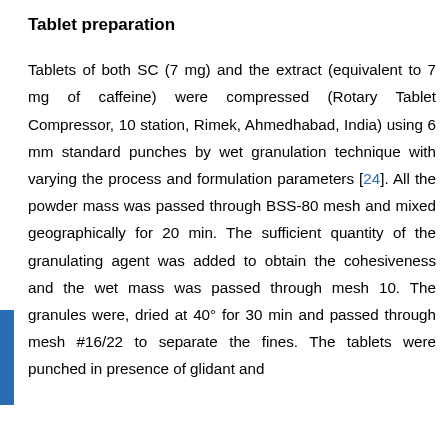Tablet preparation
Tablets of both SC (7 mg) and the extract (equivalent to 7 mg of caffeine) were compressed (Rotary Tablet Compressor, 10 station, Rimek, Ahmedhabad, India) using 6 mm standard punches by wet granulation technique with varying the process and formulation parameters [24]. All the powder mass was passed through BSS-80 mesh and mixed geographically for 20 min. The sufficient quantity of the granulating agent was added to obtain the cohesiveness and the wet mass was passed through mesh 10. The granules were, dried at 40° for 30 min and passed through mesh #16/22 to separate the fines. The tablets were punched in presence of glidant and